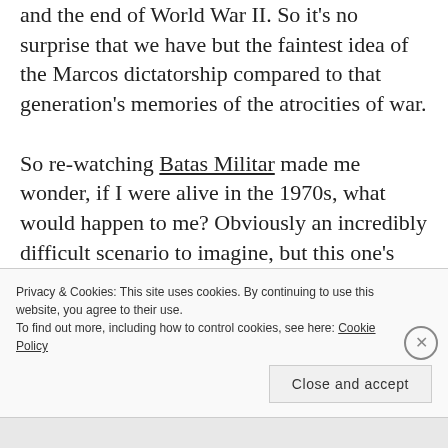and the end of World War II. So it's no surprise that we have but the faintest idea of the Marcos dictatorship compared to that generation's memories of the atrocities of war.
So re-watching Batas Militar made me wonder, if I were alive in the 1970s, what would happen to me? Obviously an incredibly difficult scenario to imagine, but this one's
Privacy & Cookies: This site uses cookies. By continuing to use this website, you agree to their use. To find out more, including how to control cookies, see here: Cookie Policy
Close and accept